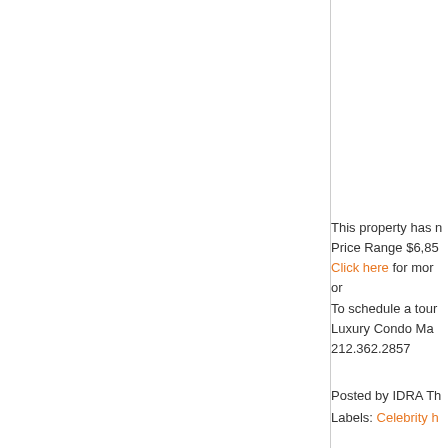This property has n Price Range $6,85 Click here for mor or To schedule a tour Luxury Condo Ma 212.362.2857
Posted by IDRA TH Labels: Celebrity h